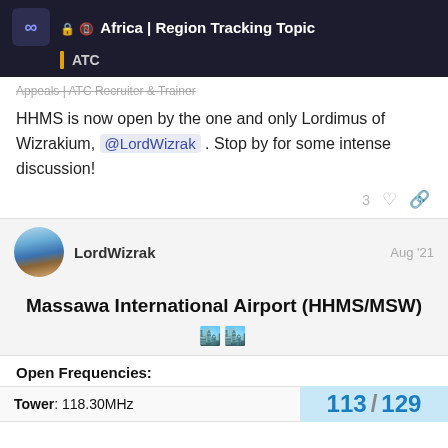Africa | Region Tracking Topic ATC
Appeals | ATC Recruiter & Trainer
HHMS is now open by the one and only Lordimus of Wizrakium, @LordWizrak . Stop by for some intense discussion!
3 ♡ 🔗
LordWizrak Aug '21
Massawa International Airport (HHMS/MSW)
🏙️🏙️
Open Frequencies:
Tower: 118.30MHz
113 / 129